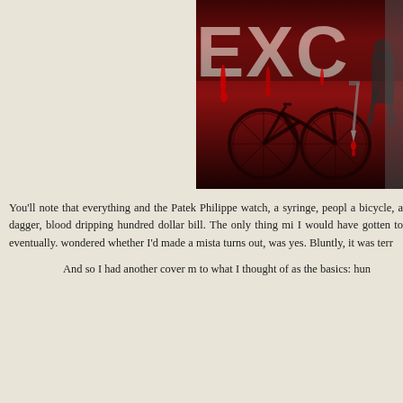[Figure (illustration): Book cover image showing a dark red background with large distressed text 'EXC' (partially visible), a bicycle silhouette, a dripping dagger, and a figure in the background. The cover appears to be a thriller/mystery novel cover.]
You'll note that everything and the Patek Philippe watch, a syringe, people, a bicycle, a dagger, blood dripping hundred dollar bill. The only thing mi I would have gotten to eventually. wondered whether I'd made a mista turns out, was yes. Bluntly, it was terr
And so I had another cover m to what I thought of as the basics: hun